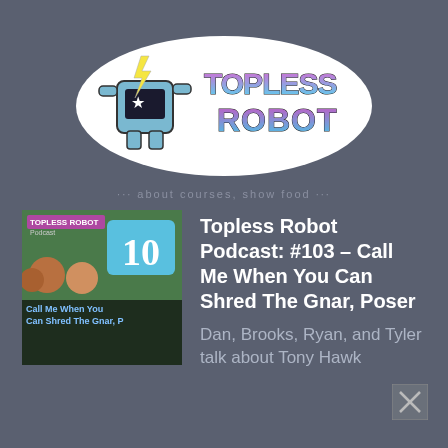[Figure (logo): Topless Robot logo with robot mascot and stylized text]
... About Courses, show food ...
[Figure (photo): Topless Robot Podcast episode #103 thumbnail showing hosts]
Topless Robot Podcast: #103 – Call Me When You Can Shred The Gnar, Poser
Dan, Brooks, Ryan, and Tyler talk about Tony Hawk